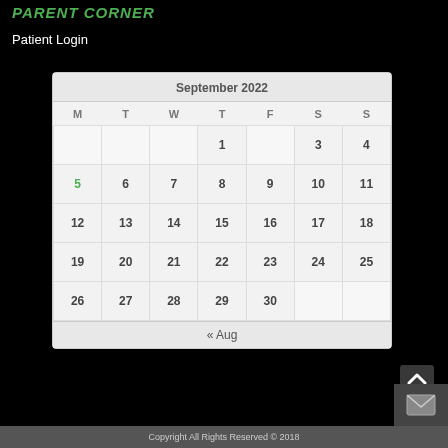PARENT CORNER
Patient Login
| M | T | W | T | F | S | S |
| --- | --- | --- | --- | --- | --- | --- |
|  |  |  | 1 |  | 3 | 4 |
| 5 | 6 | 7 | 8 | 9 | 10 | 11 |
| 12 | 13 | 14 | 15 | 16 | 17 | 18 |
| 19 | 20 | 21 | 22 | 23 | 24 | 25 |
| 26 | 27 | 28 | 29 | 30 |  |  |
September 2022
« Aug
Copyright All Rights Reserved © 2018